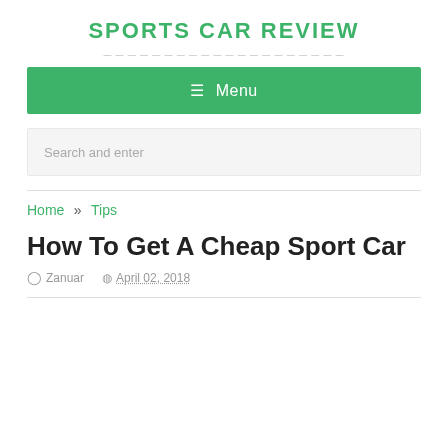SPORTS CAR REVIEW
[Figure (other): Navigation menu bar with green background showing hamburger icon and Menu text]
[Figure (other): Search input field with placeholder text Search and enter]
Home » Tips
How To Get A Cheap Sport Car
Zanuar  April 02, 2018